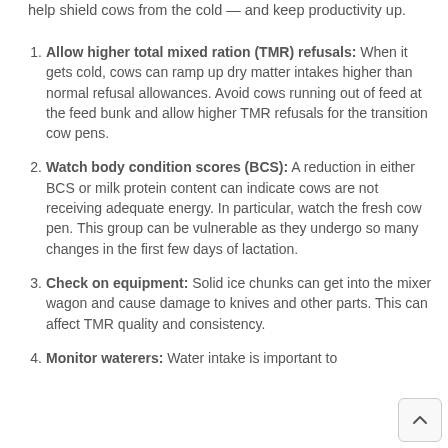help shield cows from the cold — and keep productivity up.
Allow higher total mixed ration (TMR) refusals: When it gets cold, cows can ramp up dry matter intakes higher than normal refusal allowances. Avoid cows running out of feed at the feed bunk and allow higher TMR refusals for the transition cow pens.
Watch body condition scores (BCS): A reduction in either BCS or milk protein content can indicate cows are not receiving adequate energy. In particular, watch the fresh cow pen. This group can be vulnerable as they undergo so many changes in the first few days of lactation.
Check on equipment: Solid ice chunks can get into the mixer wagon and cause damage to knives and other parts. This can affect TMR quality and consistency.
Monitor waterers: Water intake is important to